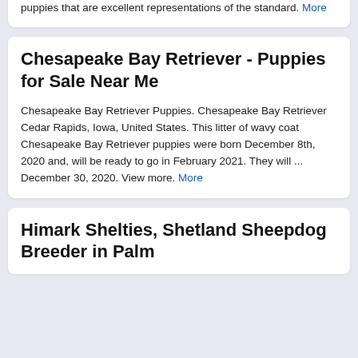puppies that are excellent representations of the standard. More
Chesapeake Bay Retriever - Puppies for Sale Near Me
Chesapeake Bay Retriever Puppies. Chesapeake Bay Retriever Cedar Rapids, Iowa, United States. This litter of wavy coat Chesapeake Bay Retriever puppies were born December 8th, 2020 and, will be ready to go in February 2021. They will ... December 30, 2020. View more. More
Himark Shelties, Shetland Sheepdog Breeder in Palm